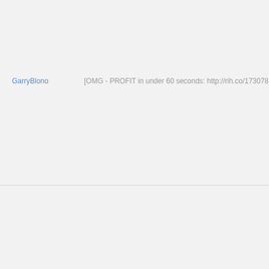GarryBlono    [OMG - PROFIT in under 60 seconds: http://rih.co/173078